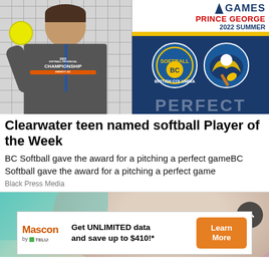[Figure (photo): Composite image: Left half shows a teen boy holding a yellow softball, wearing a gray 2022 Softball Provincial Championship t-shirt and blue lanyard. Right half shows BC Games Prince George 2022 Summer promotional graphic with Softball BC and BC Games logos on a dark blue background, with 'PERFECT' text partially visible at bottom.]
Clearwater teen named softball Player of the Week
BC Softball gave the award for a pitching a perfect gameBC Softball gave the award for a pitching a perfect game
Black Press Media
[Figure (photo): Bottom portion of a second article thumbnail showing a blurred close-up of a person, with teal/peach tones.]
[Figure (infographic): Advertisement banner: Mascon by TELUS logo on left, text 'Get UNLIMITED data and save up to $410!*' in center, orange 'Learn More' button on right.]